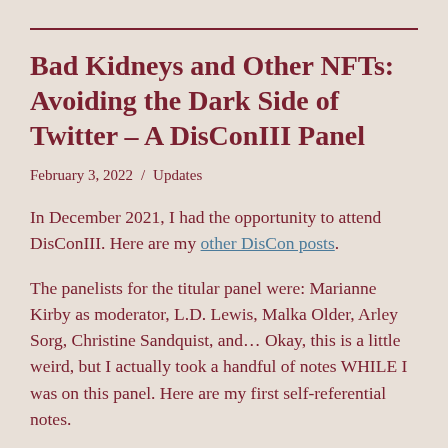Bad Kidneys and Other NFTs: Avoiding the Dark Side of Twitter – A DisConIII Panel
February 3, 2022  /  Updates
In December 2021, I had the opportunity to attend DisConIII. Here are my other DisCon posts.
The panelists for the titular panel were: Marianne Kirby as moderator, L.D. Lewis, Malka Older, Arley Sorg, Christine Sandquist, and… Okay, this is a little weird, but I actually took a handful of notes WHILE I was on this panel. Here are my first self-referential notes.